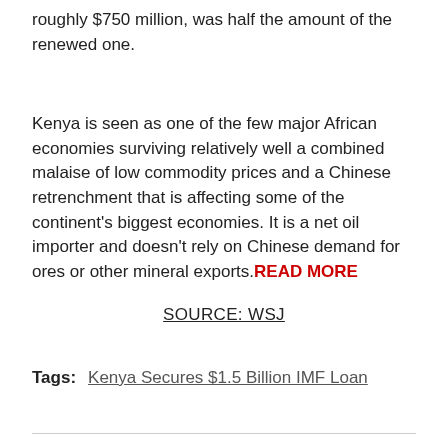roughly $750 million, was half the amount of the renewed one.
Kenya is seen as one of the few major African economies surviving relatively well a combined malaise of low commodity prices and a Chinese retrenchment that is affecting some of the continent's biggest economies. It is a net oil importer and doesn't rely on Chinese demand for ores or other mineral exports. READ MORE
SOURCE: WSJ
Tags:   Kenya Secures $1.5 Billion IMF Loan